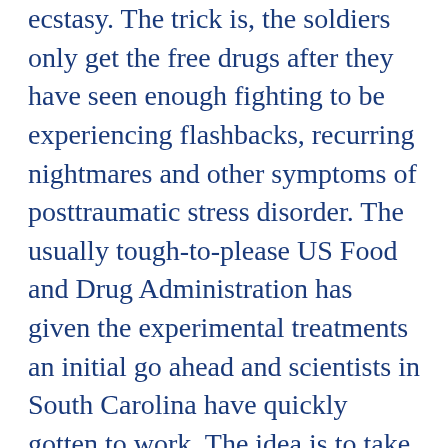ecstasy. The trick is, the soldiers only get the free drugs after they have seen enough fighting to be experiencing flashbacks, recurring nightmares and other symptoms of posttraumatic stress disorder. The usually tough-to-please US Food and Drug Administration has given the experimental treatments an initial go ahead and scientists in South Carolina have quickly gotten to work. The idea is to take advantage of the touchy-feely effect ecstasy (the “happiness drug”) has on people to get soldiers to open up about the trauma they have faced. In other news, the US government spends $20 billion a year on the drug war...
In the rash of media coverage on MDMA psychotherapy research this year, celebrated on the covers of the last Bulletin, not every news agency